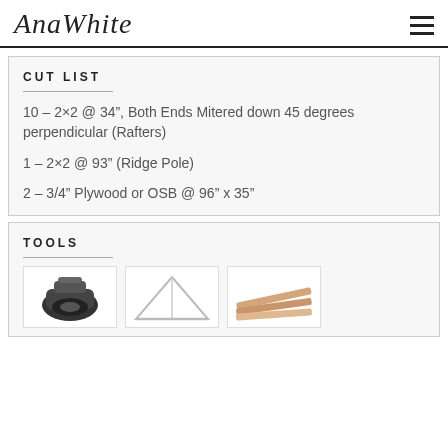AnaWhite
CUT LIST
10 – 2×2 @ 34", Both Ends Mitered down 45 degrees perpendicular (Rafters)
1 – 2×2 @ 93" (Ridge Pole)
2 – 3/4" Plywood or OSB @ 96" x 35"
TOOLS
[Figure (photo): Tool image 1 - tape measure or power tool]
[Figure (photo): Tool image 2 - speed square or triangle]
[Figure (photo): Tool image 3 - wood boards or lumber]